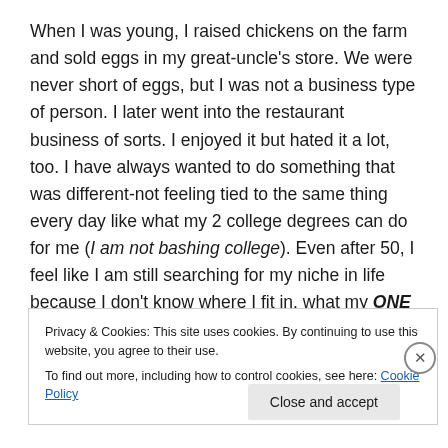When I was young, I raised chickens on the farm and sold eggs in my great-uncle's store. We were never short of eggs, but I was not a business type of person. I later went into the restaurant business of sorts. I enjoyed it but hated it a lot, too. I have always wanted to do something that was different-not feeling tied to the same thing every day like what my 2 college degrees can do for me (I am not bashing college). Even after 50, I feel like I am still searching for my niche in life because I don't know where I fit in, what my ONE specialty is.
Privacy & Cookies: This site uses cookies. By continuing to use this website, you agree to their use.
To find out more, including how to control cookies, see here: Cookie Policy
Close and accept